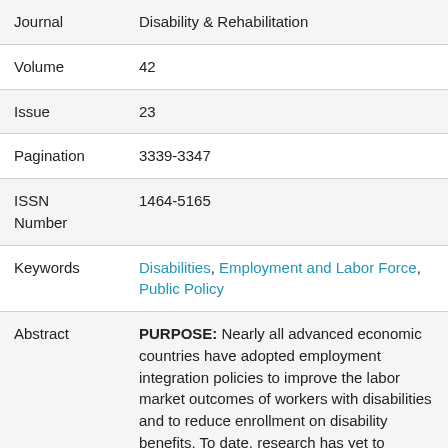| Field | Value |
| --- | --- |
| Journal | Disability & Rehabilitation |
| Volume | 42 |
| Issue | 23 |
| Pagination | 3339-3347 |
| ISSN Number | 1464-5165 |
| Keywords | Disabilities, Employment and Labor Force, Public Policy |
| Abstract | PURPOSE: Nearly all advanced economic countries have adopted employment integration policies to improve the labor market outcomes of workers with disabilities and to reduce enrollment on disability benefits. To date, research has yet to investigate whether the adoption |